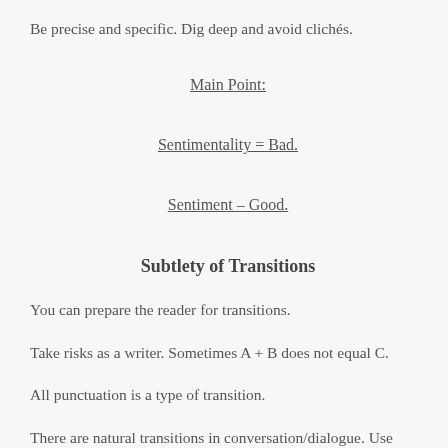Be precise and specific. Dig deep and avoid clichés.
Main Point:
Sentimentality = Bad.
Sentiment – Good.
Subtlety of Transitions
You can prepare the reader for transitions.
Take risks as a writer. Sometimes A + B does not equal C.
All punctuation is a type of transition.
There are natural transitions in conversation/dialogue. Use these.